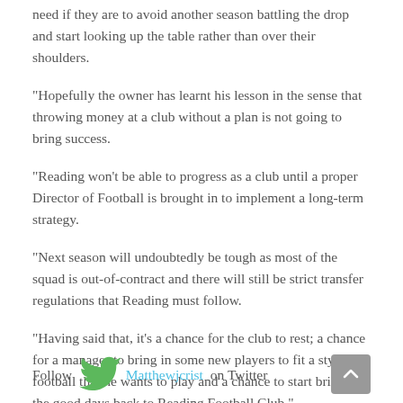need if they are to avoid another season battling the drop and start looking up the table rather than over their shoulders.
“Hopefully the owner has learnt his lesson in the sense that throwing money at a club without a plan is not going to bring success.
“Reading won't be able to progress as a club until a proper Director of Football is brought in to implement a long-term strategy.
“Next season will undoubtedly be tough as most of the squad is out-of-contract and there will still be strict transfer regulations that Reading must follow.
“Having said that, it’s a chance for the club to rest; a chance for a manager to bring in some new players to fit a style of football that he wants to play and a chance to start bringing the good days back to Reading Football Club."
Follow Matthewjcrist on Twitter